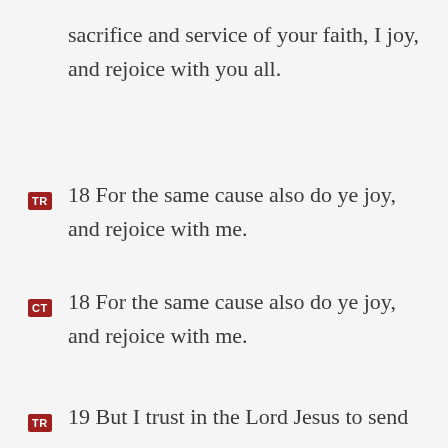sacrifice and service of your faith, I joy, and rejoice with you all.
TR 18 For the same cause also do ye joy, and rejoice with me.
CT 18 For the same cause also do ye joy, and rejoice with me.
TR 19 But I trust in the Lord Jesus to send